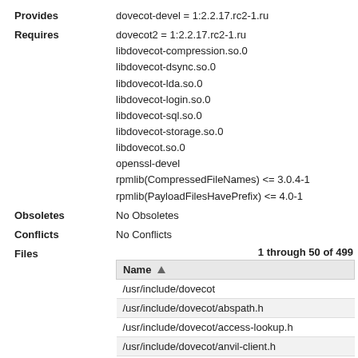Provides: dovecot-devel = 1:2.2.17.rc2-1.ru
Requires: dovecot2 = 1:2.2.17.rc2-1.ru
libdovecot-compression.so.0
libdovecot-dsync.so.0
libdovecot-lda.so.0
libdovecot-login.so.0
libdovecot-sql.so.0
libdovecot-storage.so.0
libdovecot.so.0
openssl-devel
rpmlib(CompressedFileNames) <= 3.0.4-1
rpmlib(PayloadFilesHavePrefix) <= 4.0-1
Obsoletes: No Obsoletes
Conflicts: No Conflicts
Files: 1 through 50 of 499
| Name ▲ |
| --- |
| /usr/include/dovecot |
| /usr/include/dovecot/abspath.h |
| /usr/include/dovecot/access-lookup.h |
| /usr/include/dovecot/anvil-client.h |
| /usr/include/dovecot/aqueue.h |
| /usr/include/dovecot/array-decl.h |